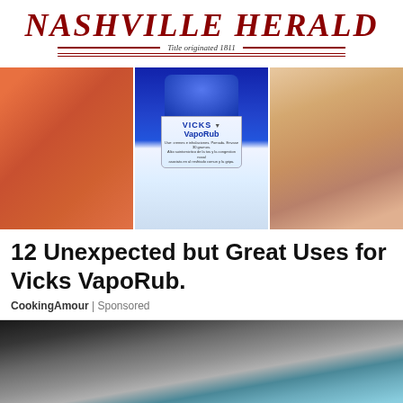Nashville Herald – Title originated 1811
[Figure (photo): Three-panel image: left panel shows reddish irritated skin; center panel shows a blue Vicks VapoRub jar; right panel shows a woman touching her face with black-painted nails]
12 Unexpected but Great Uses for Vicks VapoRub.
CookingAmour | Sponsored
[Figure (photo): Photo of a sleeping cat, gray/tabby, resting on a blue surface]